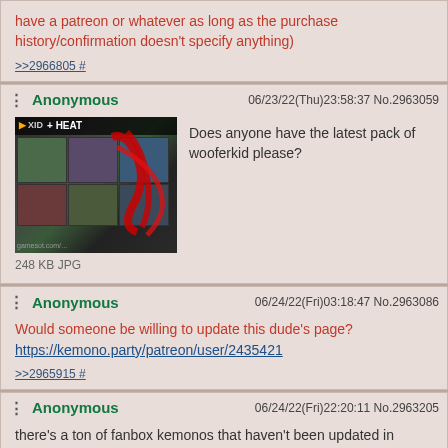have a patreon or whatever as long as the purchase history/confirmation doesn't specify anything)
>>2966805 #
Anonymous 06/23/22(Thu)23:58:37 No.2963059
[Figure (photo): Thumbnail image of an anime art pack, showing manga-style characters with red scribbles overlaid]
Does anyone have the latest pack of wooferkid please?
248 KB JPG
Anonymous 06/24/22(Fri)03:18:47 No.2963086
Would someone be willing to update this dude's page? https://kemono.party/patreon/user/2435421
>>2965915 #
Anonymous 06/24/22(Fri)22:20:11 No.2963205
there's a ton of fanbox kemonos that haven't been updated in months, start there